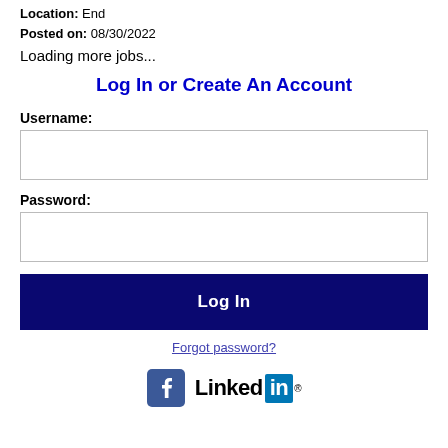Location: End
Posted on: 08/30/2022
Loading more jobs...
Log In or Create An Account
Username:
Password:
Log In
Forgot password?
[Figure (logo): Facebook and LinkedIn social login icons]